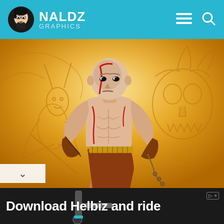NALDZ GRAPHICS
[Figure (illustration): Comic-style illustration of Kratos from God of War, a muscular bald warrior with red tattoo markings, golden belt, brown arm wraps and chains, standing in a powerful pose against a golden/amber background with ghostly creature outlines including a horned demon on the left and a skull figure on the right]
[Figure (photo): Advertisement banner showing electric scooter handlebars with text 'Download Helbiz and ride' in white bold font on dark background]